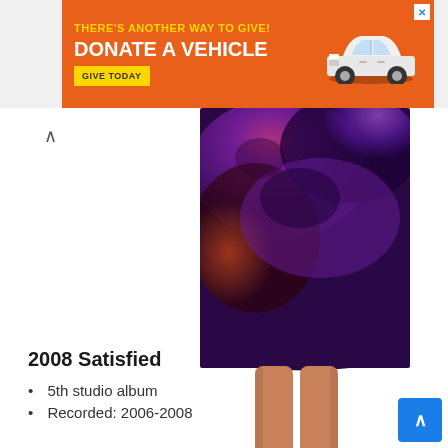[Figure (infographic): Orange advertisement banner: 'THERE'S ANOTHER WAY TO GIVE! DONATE A VEHICLE' with a yellow GIVE TODAY button and a white car image on the right. Close (X) button in top-right corner.]
[Figure (photo): Lower portion of a person wearing a galaxy/nebula-print purple and pink skirt, cropped from waist down showing legs.]
2008 Satisfied
5th studio album
Recorded: 2006-2008
Released: February 5, 2008
Label: Adrenaline